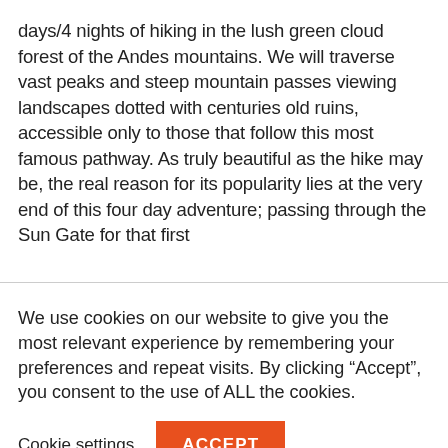days/4 nights of hiking in the lush green cloud forest of the Andes mountains. We will traverse vast peaks and steep mountain passes viewing landscapes dotted with centuries old ruins, accessible only to those that follow this most famous pathway. As truly beautiful as the hike may be, the real reason for its popularity lies at the very end of this four day adventure; passing through the Sun Gate for that first
We use cookies on our website to give you the most relevant experience by remembering your preferences and repeat visits. By clicking “Accept”, you consent to the use of ALL the cookies.
Cookie settings
ACCEPT